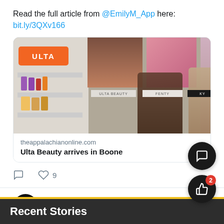Read the full article from @EmilyM_App here: bit.ly/3QXv166
[Figure (photo): Ulta Beauty store interior showing product shelves and shoppers]
theappalachianonline.com
Ulta Beauty arrives in Boone
[Figure (infographic): Twitter action buttons: comment and like (9)]
[Figure (logo): The Appalachian logo - mountain A symbol in black circle]
The Appalachian @TheAppala... · Aug 24
Recent Stories